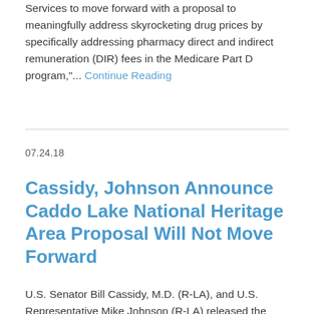Services to move forward with a proposal to meaningfully address skyrocketing drug prices by specifically addressing pharmacy direct and indirect remuneration (DIR) fees in the Medicare Part D program,"... Continue Reading
07.24.18
Cassidy, Johnson Announce Caddo Lake National Heritage Area Proposal Will Not Move Forward
U.S. Senator Bill Cassidy, M.D. (R-LA), and U.S. Representative Mike Johnson (R-LA) released the